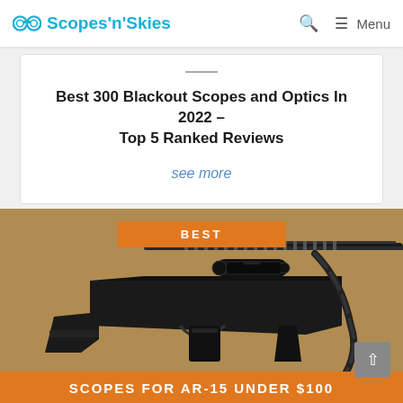Scopes'n'Skies — Menu
Best 300 Blackout Scopes and Optics In 2022 – Top 5 Ranked Reviews
see more
[Figure (photo): Photo of a black AR-15 rifle with scope and sling on a brown/tan surface, overlaid with orange 'BEST' banner at top and orange 'SCOPES FOR AR-15 UNDER $100' banner at bottom]